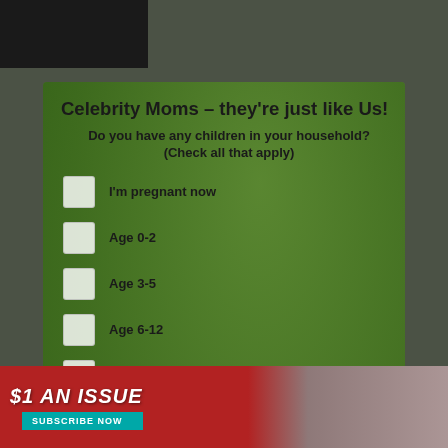[Figure (screenshot): Website popup modal with background photo of a woman holding two children outdoors on a patio with greenery. Modal contains a survey form titled 'Celebrity Moms - they're just like Us!' asking about children in household with checkboxes and a submit button.]
Celebrity Moms – they're just like Us!
Do you have any children in your household? (Check all that apply)
I'm pregnant now
Age 0-2
Age 3-5
Age 6-12
Age 13-17
No children currently living with me
SUBMIT
$1 AN ISSUE
SUBSCRIBE NOW